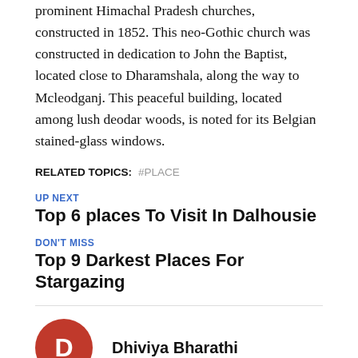prominent Himachal Pradesh churches, constructed in 1852. This neo-Gothic church was constructed in dedication to John the Baptist, located close to Dharamshala, along the way to Mcleodganj. This peaceful building, located among lush deodar woods, is noted for its Belgian stained-glass windows.
RELATED TOPICS:  #PLACE
UP NEXT
Top 6 places To Visit In Dalhousie
DON'T MISS
Top 9 Darkest Places For Stargazing
Dhiviya Bharathi
Hi, I'm Dhiviya, I'm a content writer and a blogger. I've been writing